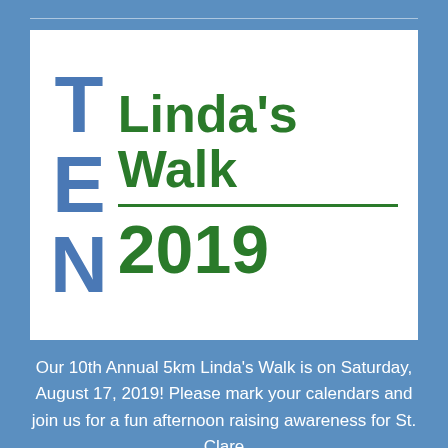[Figure (logo): Linda's Walk TEN 2019 logo — 'TEN' in large blue stacked letters on the left, "Linda's Walk" in large green bold text on the right, with a green horizontal rule below, and '2019' in large green text below the rule, all on a white background.]
Our 10th Annual 5km Linda's Walk is on Saturday, August 17, 2019! Please mark your calendars and join us for a fun afternoon raising awareness for St. Clare